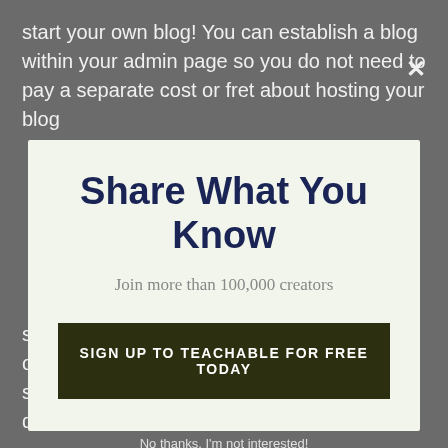start your own blog! You can establish a blog within your admin page so you do not need to pay a separate cost or fret about hosting your blog
Share What You Know
Join more than 100,000 creators
SIGN UP TO TEACHABLE FOR FREE TODAY
No thanks, I'm not interested!
start, after that Teachable is an excellent option for you. Teachable has an integrated settlement alternative to make sure that you do not have to